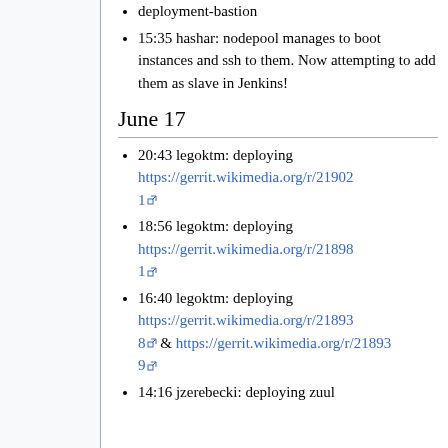deployment-bastion
15:35 hashar: nodepool manages to boot instances and ssh to them. Now attempting to add them as slave in Jenkins!
June 17
20:43 legoktm: deploying https://gerrit.wikimedia.org/r/219021
18:56 legoktm: deploying https://gerrit.wikimedia.org/r/218981
16:40 legoktm: deploying https://gerrit.wikimedia.org/r/218938 & https://gerrit.wikimedia.org/r/218939
14:16 jzerebecki: deploying zuul